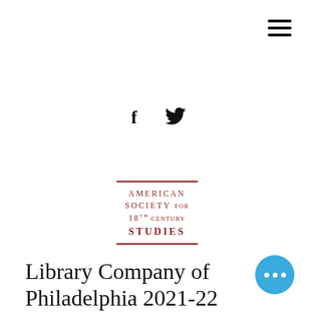[Figure (other): Hamburger menu icon (three horizontal lines) in top right corner]
[Figure (other): Social media icons: Facebook (f) and Twitter (bird) in center of page]
[Figure (logo): American Society for 18th-Century Studies logo with red text and border lines]
Library Company of Philadelphia 2021-22 Fellowships: Applications